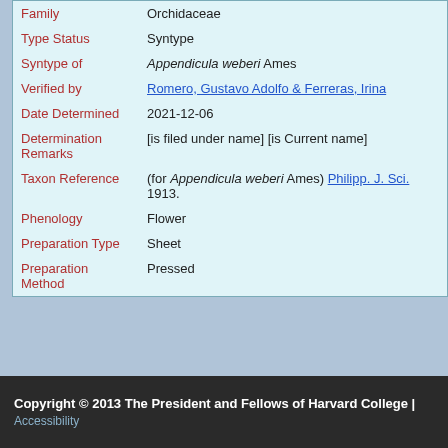| Field | Value |
| --- | --- |
| Family | Orchidaceae |
| Type Status | Syntype |
| Syntype of | Appendicula weberi Ames |
| Verified by | Romero, Gustavo Adolfo & Ferreras, Irina |
| Date Determined | 2021-12-06 |
| Determination Remarks | [is filed under name] [is Current name] |
| Taxon Reference | (for Appendicula weberi Ames) Philipp. J. Sci. 1913. |
| Phenology | Flower |
| Preparation Type | Sheet |
| Preparation Method | Pressed |
Copyright © 2013 The President and Fellows of Harvard College | Accessibility